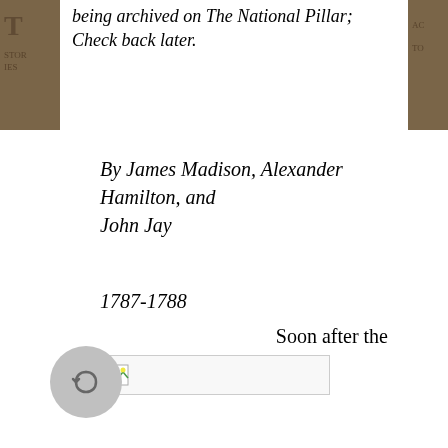being archived on The National Pillar; Check back later.
By James Madison, Alexander Hamilton, and John Jay
1787-1788
[Figure (other): Broken image placeholder with small image icon and border]
Soon after the